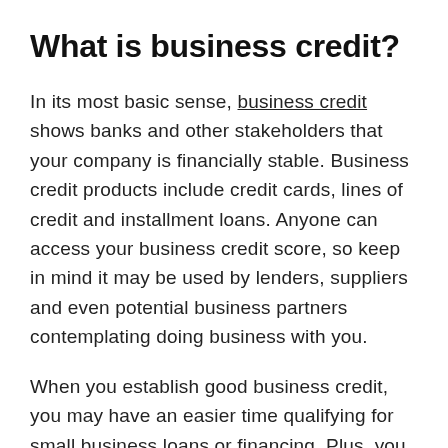What is business credit?
In its most basic sense, business credit shows banks and other stakeholders that your company is financially stable. Business credit products include credit cards, lines of credit and installment loans. Anyone can access your business credit score, so keep in mind it may be used by lenders, suppliers and even potential business partners contemplating doing business with you.
When you establish good business credit, you may have an easier time qualifying for small business loans or financing. Plus, you may even secure financing with lower interest rates.